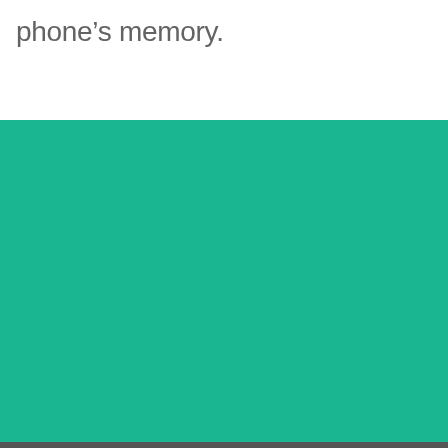phone’s memory.
[Figure (illustration): Large solid teal/green color block filling the lower two-thirds of the page]